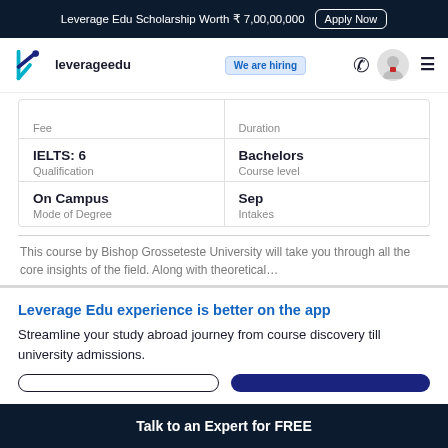Leverage Edu Scholarship Worth ₹ 7,00,00,000  Apply Now
[Figure (logo): Leverage Edu logo with teal/blue chevron icon and text 'leverage edu', with 'We are hiring' badge]
|  |  |
| --- | --- |
|  | Duration |
| Fee |  |
| IELTS: 6 | Bachelors |
| Qualification | Course level |
| On Campus | Sep |
| Mode of Degree | Intakes |
This course by Bishop Grosseteste University will take you through all the core insights of the field. Along with theoretical…
Leverage Edu experience is better on the app
Streamline your study abroad journey from course discovery till university admissions.
Talk to an Expert for FREE